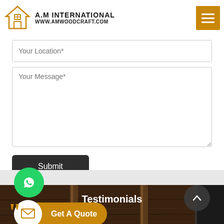[Figure (logo): A.M International logo with house icon and URL www.amwoodcraft.com]
Your Location*
Your Message*
Submit
[Figure (illustration): WhatsApp green circle button]
[Figure (illustration): Scroll up dark circle button with caret]
[Figure (photo): Dark wood furniture legs on wooden floor background]
Get A Quote
Testimonials